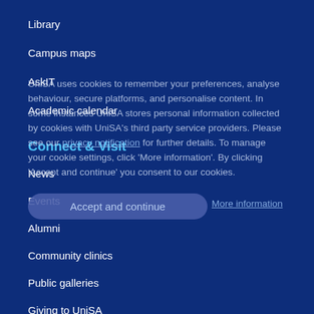Library
Campus maps
AskIT
Academic calendar
Connect & Visit
News
Events
Alumni
Community clinics
Public galleries
Giving to UniSA
Working at UniSA
Study & Research
Degrees
Research
UniSA uses cookies to remember your preferences, analyse behaviour, secure platforms, and personalise content. In some instances UniSA shares personal information collected by cookies with UniSA's third party service providers. Please see our privacy notification for further details. To manage your cookie settings, click 'More information'. By clicking 'Accept and continue' you consent to our cookies.
Accept and continue